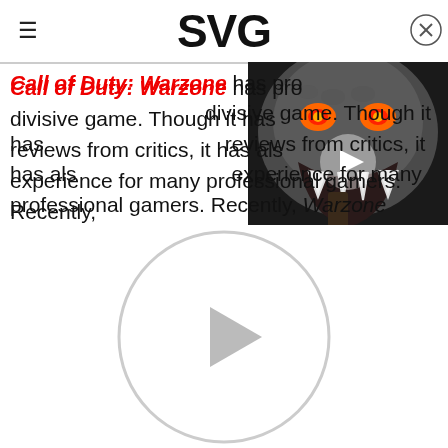SVG
Call of Duty: Warzone has pro divisive game. Though it has reviews from critics, it has als experience for many professional gamers. Recently, Warzone drew the ire of the one and only Dr Disrespect.
[Figure (screenshot): Video thumbnail showing a monster creature from a game, with a play button overlay]
[Figure (screenshot): Large circular video player with a play button in center, white background]